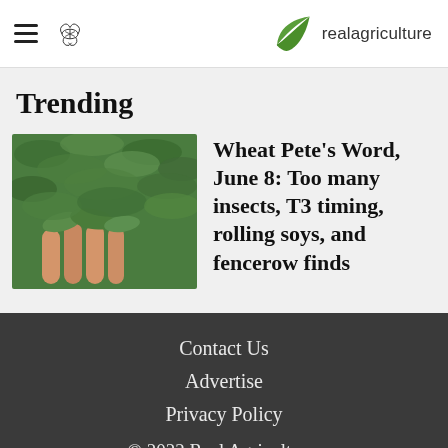realagriculture
Trending
[Figure (photo): Close-up photo of a hand holding green plant leaves/foliage, possibly soybean or similar crop plant with small leaves]
Wheat Pete's Word, June 8: Too many insects, T3 timing, rolling soys, and fencerow finds
Contact Us
Advertise
Privacy Policy
© 2022 Real Agriculture.